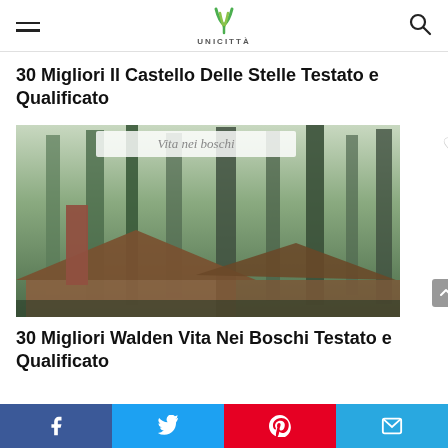UNICITTA navigation header with hamburger menu, logo, and search icon
30 Migliori Il Castello Delle Stelle Testato e Qualificato
[Figure (photo): Book cover image titled 'Vita nei boschi' showing a forest scene with tall trees and a wooden cabin with a chimney in the foreground]
30 Migliori Walden Vita Nei Boschi Testato e Qualificato
Social share bar: Facebook, Twitter, Pinterest, Email